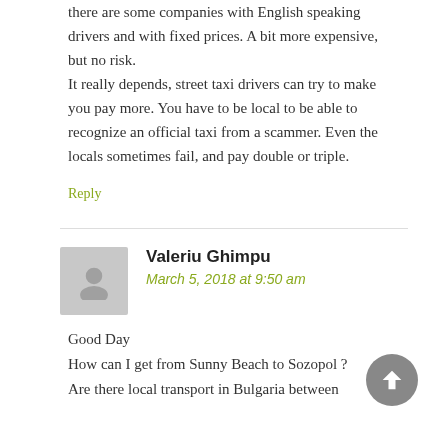there are some companies with English speaking drivers and with fixed prices. A bit more expensive, but no risk. It really depends, street taxi drivers can try to make you pay more. You have to be local to be able to recognize an official taxi from a scammer. Even the locals sometimes fail, and pay double or triple.
Reply
Valeriu Ghimpu
March 5, 2018 at 9:50 am
Good Day
How can I get from Sunny Beach to Sozopol ?
Are there local transport in Bulgaria between